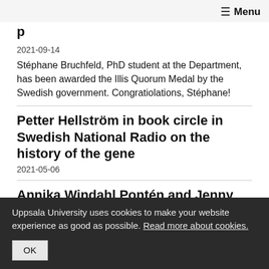≡ Menu
[partial title — truncated at top]
2021-09-14
Stéphane Bruchfeld, PhD student at the Department, has been awarded the Illis Quorum Medal by the Swedish government. Congratiolations, Stéphane!
Petter Hellström in book circle in Swedish National Radio on the history of the gene
2021-05-06
Annika Windahl Pontén and Jenny Beckman on
Uppsala University uses cookies to make your website experience as good as possible. Read more about cookies.